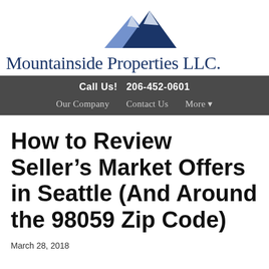[Figure (logo): Mountainside Properties LLC logo with two blue mountain peaks illustration]
Mountainside Properties LLC.
Call Us!  206-452-0601
Our Company   Contact Us   More ▾
How to Review Seller's Market Offers in Seattle (And Around the 98059 Zip Code)
March 28, 2018